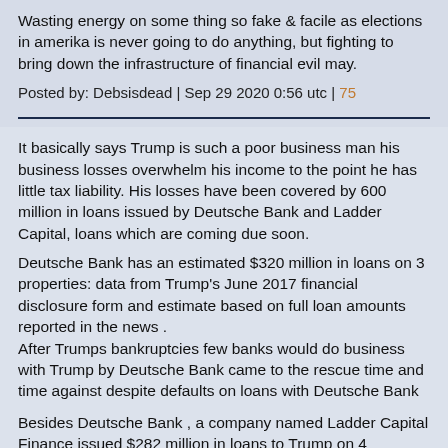Wasting energy on some thing so fake & facile as elections in amerika is never going to do anything, but fighting to bring down the infrastructure of financial evil may.
Posted by: Debsisdead | Sep 29 2020 0:56 utc | 75
It basically says Trump is such a poor business man his business losses overwhelm his income to the point he has little tax liability. His losses have been covered by 600 million in loans issued by Deutsche Bank and Ladder Capital, loans which are coming due soon.
Deutsche Bank has an estimated $320 million in loans on 3 properties: data from Trump's June 2017 financial disclosure form and estimate based on full loan amounts reported in the news . After Trumps bankruptcies few banks would do business with Trump by Deutsche Bank came to the rescue time and time against despite defaults on loans with Deutsche Bank
Besides Deutsche Bank , a company named Ladder Capital Finance issued $282 million in loans to Trump on 4 properties. In Feb 2017 the Related Companies bought $80 million in Ladder stock. Stephen Ross, chairman & founder of Related Companies, has been a client of Rosemary Vrablic a senior banker at Deutsche Bank, who counts Trump and Jared Kushner as customers.